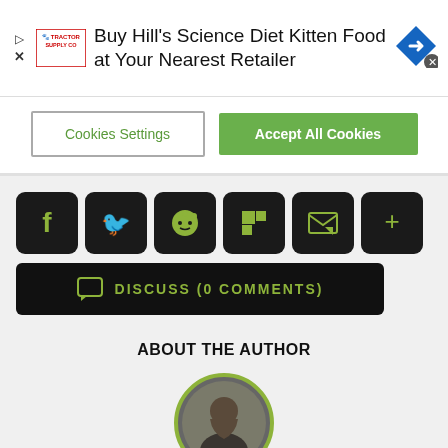[Figure (screenshot): Ad banner: Buy Hill's Science Diet Kitten Food at Your Nearest Retailer with Tractor Supply Co logo and navigation icon]
[Figure (screenshot): Cookie consent banner with 'Cookies Settings' and 'Accept All Cookies' buttons]
[Figure (screenshot): Social share icons row: Facebook, Twitter, Reddit, Flipboard, Email, More; and Discuss (0 Comments) bar]
ABOUT THE AUTHOR
[Figure (photo): Circular author photo with green border showing a person outdoors]